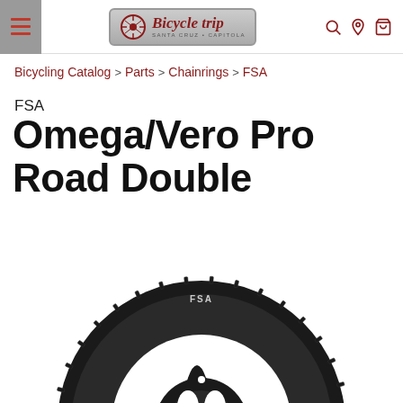Bicycle Trip — Santa Cruz • Capitola
Bicycling Catalog > Parts > Chainrings > FSA
FSA
Omega/Vero Pro Road Double
[Figure (photo): Black FSA Omega/Vero Pro Road Double chainring, rear view showing spider arms and tooth profile]